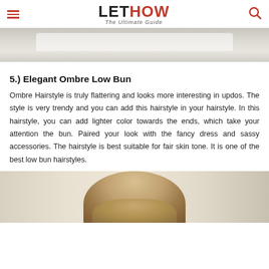LETHOW The Ultimate Guide
[Figure (photo): Top portion of a photo showing white fabric or clothing]
5.) Elegant Ombre Low Bun
Ombre Hairstyle is truly flattering and looks more interesting in updos. The style is very trendy and you can add this hairstyle in your hairstyle. In this hairstyle, you can add lighter color towards the ends, which take your attention the bun. Paired your look with the fancy dress and sassy accessories. The hairstyle is best suitable for fair skin tone. It is one of the best low bun hairstyles.
[Figure (photo): Bottom portion showing the back of a person's head with ombre low bun hairstyle]